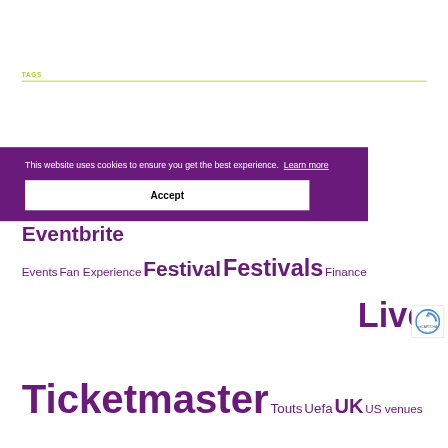TAGS
App Appointments Attendance Australia Blockchain Cinema Covid-19 Cricket Data Eventbrite Events Fan Experience Festival Festivals Finance Live Ticketmaster Touts Uefa UK US venues
This website uses cookies to ensure you get the best experience. Learn more
Accept